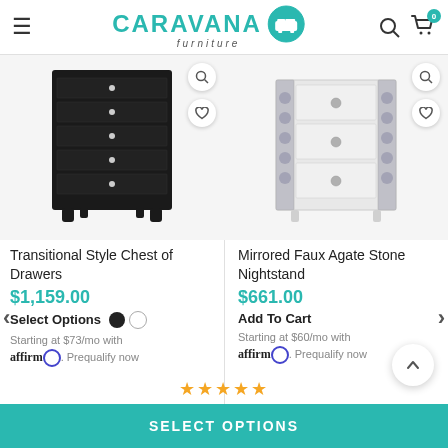CARAVANA furniture
[Figure (photo): Black transitional style chest of drawers with 6 drawers and silver knobs]
Transitional Style Chest of Drawers
$1,159.00
Select Options
Starting at $73/mo with affirm. Prequalify now
[Figure (photo): White mirrored faux agate stone nightstand with 3 drawers and decorative side panels]
Mirrored Faux Agate Stone Nightstand
$661.00
Add To Cart
Starting at $60/mo with affirm. Prequalify now
SELECT OPTIONS